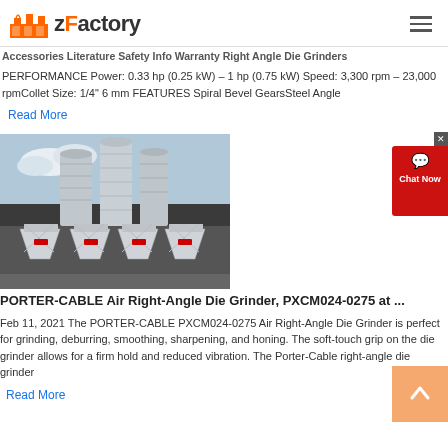zFactory
Accessories Literature Safety Info Warranty Right Angle Die Grinders PERFORMANCE Power: 0.33 hp (0.25 kW) – 1 hp (0.75 kW) Speed: 3,300 rpm – 23,000 rpmCollet Size: 1/4" 6 mm FEATURES Spiral Bevel GearsSteelAngle
Read More
[Figure (photo): Industrial silos and factory building exterior with metal hoppers/bins]
PORTER-CABLE Air Right-Angle Die Grinder, PXCM024-0275 at ...
Feb 11, 2021  The PORTER-CABLE PXCM024-0275 Air Right-Angle Die Grinder is perfect for grinding, deburring, smoothing, sharpening, and honing. The soft-touch grip on the die grinder allows for a firm hold and reduced vibration. The Porter-Cable right-angle die grinder
Read More